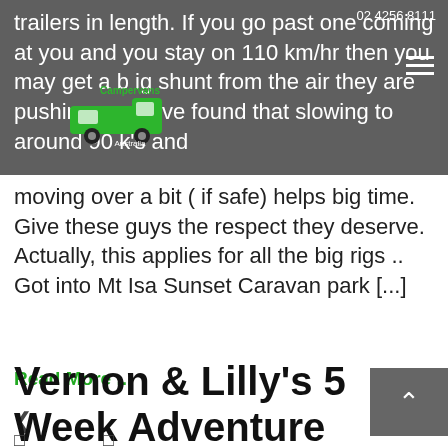02 4256 8111
[Figure (logo): Campervans Australia logo — green campervan illustration with text]
trailers in length. If you go past one coming at you and you stay on 110 km/hr then you may get a big shunt from the air they are pushing. we have found that slowing to around 90 k's and moving over a bit ( if safe) helps big time. Give these guys the respect they deserve. Actually, this applies for all the big rigs ..   Got into Mt Isa Sunset Caravan park [...]
Read More ...
❮
Vernon & Lilly's 5 Week Adventure #6